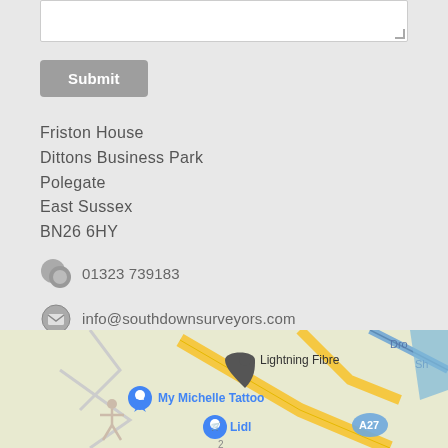[textarea input field]
Submit
Friston House
Dittons Business Park
Polegate
East Sussex
BN26 6HY
01323 739183
info@southdownsurveyors.com
[Figure (map): Google Maps screenshot showing location near Polegate, East Sussex with markers for Lightning Fibre, My Michelle Tattoo, and Lidl near road A27]